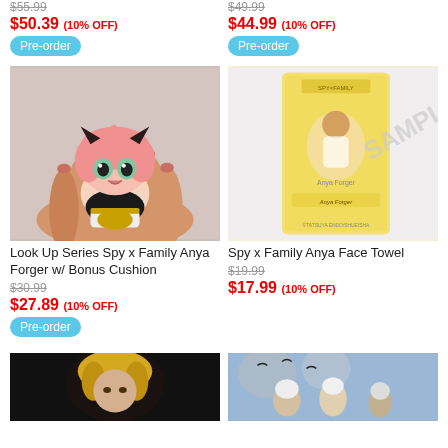$55.99 (strikethrough)
$50.39 (10% OFF)
Pre-order
$49.99 (strikethrough)
$44.99 (10% OFF)
Pre-order
[Figure (photo): Anime chibi figure of Anya Forger from Spy x Family being held in a hand]
[Figure (photo): Spy x Family Anya Face Towel product image with SAMPLE watermark, yellow background]
Look Up Series Spy x Family Anya Forger w/ Bonus Cushion
$30.99 (strikethrough)
$27.89 (10% OFF)
Pre-order
Spy x Family Anya Face Towel
$19.99 (strikethrough)
$17.99 (10% OFF)
[Figure (photo): Anime character with blonde hair, dark background]
[Figure (photo): Anime group illustration with characters and birds]